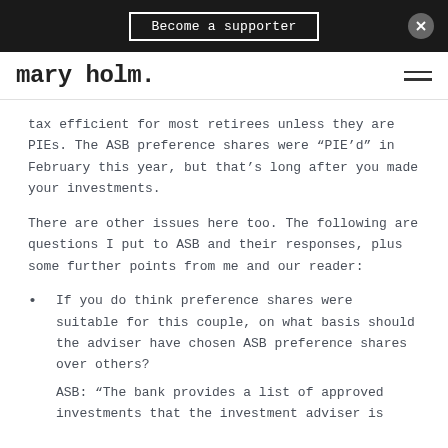Become a supporter
mary holm.
tax efficient for most retirees unless they are PIEs. The ASB preference shares were “PIE’d” in February this year, but that’s long after you made your investments.
There are other issues here too. The following are questions I put to ASB and their responses, plus some further points from me and our reader:
If you do think preference shares were suitable for this couple, on what basis should the adviser have chosen ASB preference shares over others?
ASB: “The bank provides a list of approved investments that the investment adviser is